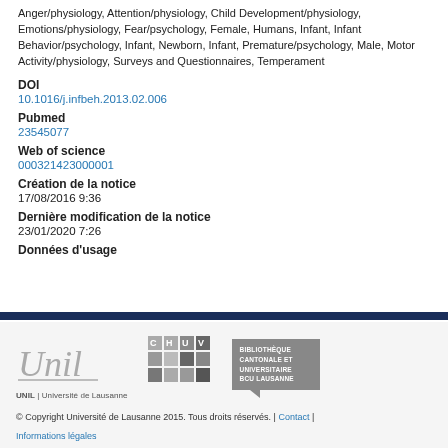Anger/physiology, Attention/physiology, Child Development/physiology, Emotions/physiology, Fear/psychology, Female, Humans, Infant, Infant Behavior/psychology, Infant, Newborn, Infant, Premature/psychology, Male, Motor Activity/physiology, Surveys and Questionnaires, Temperament
DOI
10.1016/j.infbeh.2013.02.006
Pubmed
23545077
Web of science
000321423000001
Création de la notice
17/08/2016 9:36
Dernière modification de la notice
23/01/2020 7:26
Données d'usage
[Figure (logo): UNIL Université de Lausanne logo]
[Figure (logo): CHUV logo]
[Figure (logo): Bibliothèque Cantonale et Universitaire BCU Lausanne logo]
© Copyright Université de Lausanne 2015. Tous droits réservés. | Contact | Informations légales